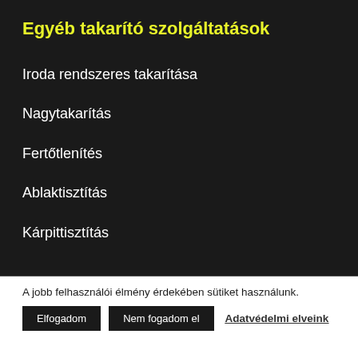Egyéb takarító szolgáltatások
Iroda rendszeres takarítása
Nagytakarítás
Fertőtlenítés
Ablaktisztítás
Kárpittisztítás
A jobb felhasználói élmény érdekében sütiket használunk.
Elfogadom | Nem fogadom el | Adatvédelmi elveink